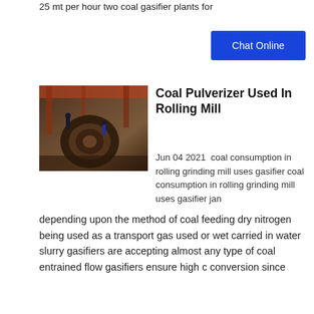25 mt per hour two coal gasifier plants for
Chat Online
Coal Pulverizer Used In Rolling Mill
[Figure (photo): Industrial heavy machinery - coal pulverizer equipment with workers in a factory setting]
Jun 04 2021  coal consumption in rolling grinding mill uses gasifier coal consumption in rolling grinding mill uses gasifier jan depending upon the method of coal feeding dry nitrogen being used as a transport gas used or wet carried in water slurry gasifiers are accepting almost any type of coal entrained flow gasifiers ensure high c conversion since
Chat Online
China Special For Rolling Mills Pant Steel Billet
[Figure (photo): Industrial rolling mill facility interior with large machinery and equipment]
Comparable unit consumption 1.1gj/t steel previous industrial furnace high performance gas combustion continuous reflection melting and holding furnace next improved single stage coal gasifier/coal